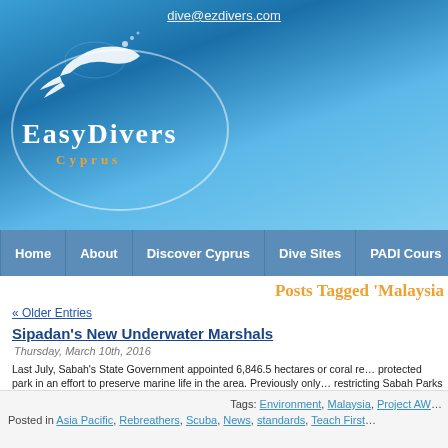dive@ezdivers.com
[Figure (logo): EasyDivers Cyprus logo with diver silhouette on blue ocean background]
Home | About | Discover Cyprus | Dive Sites | PADI Cours...
Posts Tagged 'Malaysia'
« Older Entries
Sipadan's New Underwater Marshals
Thursday, March 10th, 2016
Last July, Sabah's State Government appointed 6,846.5 hectares or coral re... protected park in an effort to preserve marine life in the area. Previously only... restricting Sabah Parks from enforcing conservation laws in the surrounding ...
The post Sipadan's New Underwater Marshals appeared first on .
Tags: Environment, Malaysia, Project AW...
Posted in Asia Pacific, Rebreathers, Scuba, News, standards, Teach First...